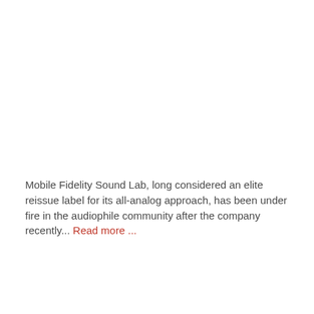Mobile Fidelity Sound Lab, long considered an elite reissue label for its all-analog approach, has been under fire in the audiophile community after the company recently... Read more ...